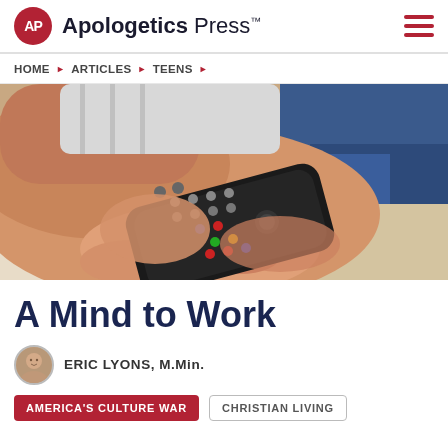Apologetics Press™
HOME ▶ ARTICLES ▶ TEENS ▶
[Figure (photo): Close-up photo of a person's hands holding a black TV remote control, with blue jeans visible in the background.]
A Mind to Work
ERIC LYONS, M.Min.
AMERICA'S CULTURE WAR   CHRISTIAN LIVING